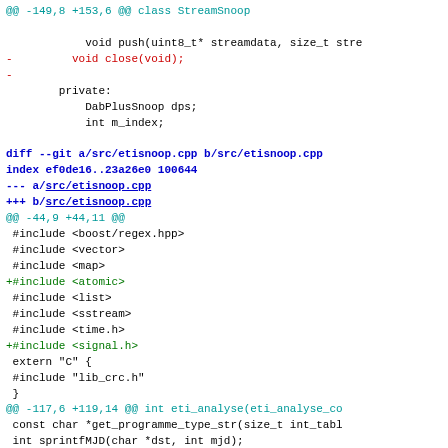Code diff showing changes to StreamSnoop and etisnoop.cpp files. Includes removal of close(void) method, addition of #include <atomic> and #include <signal.h>, and new function declarations.